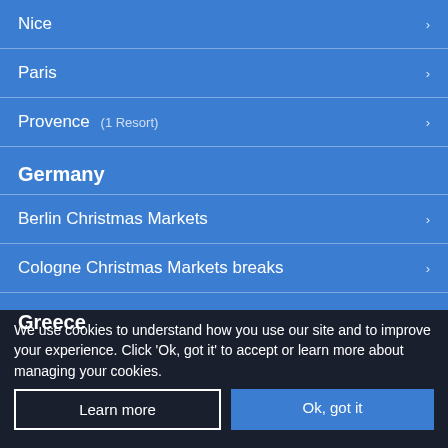Nice
Paris
Provence (1 Resort)
Germany
Berlin Christmas Markets
Cologne Christmas Markets breaks
Greece
We use cookies to understand how you use our site and to improve your experience. Click 'Ok, got it' to accept or learn more about managing your cookies.
Learn more
Ok, got it